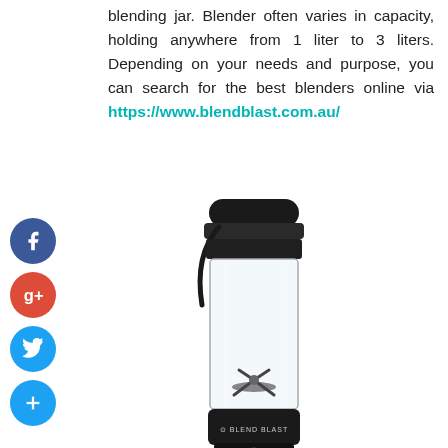blending jar. Blender often varies in capacity, holding anywhere from 1 liter to 3 liters. Depending on your needs and purpose, you can search for the best blenders online via https://www.blendblast.com.au/
[Figure (photo): A portable black blender with a clear transparent cup/jar showing blades inside, a black lid on top with a carrying strap, and 'BLEND BLAST' branding on the base.]